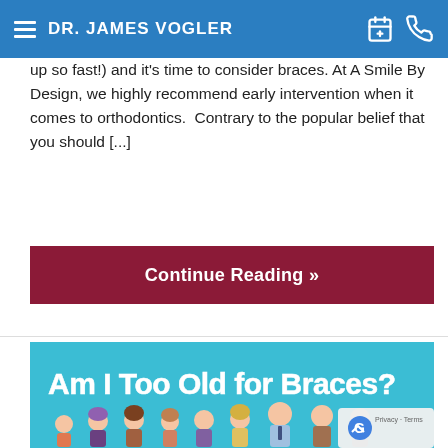DR. JAMES VOGLER
up so fast!) and it's time to consider braces. At A Smile By Design, we highly recommend early intervention when it comes to orthodontics. Contrary to the popular belief that you should [...]
Continue Reading »
[Figure (illustration): Illustration showing 'Am I Too Old for Braces?' with cartoon people of various ages standing in a row against a teal background.]